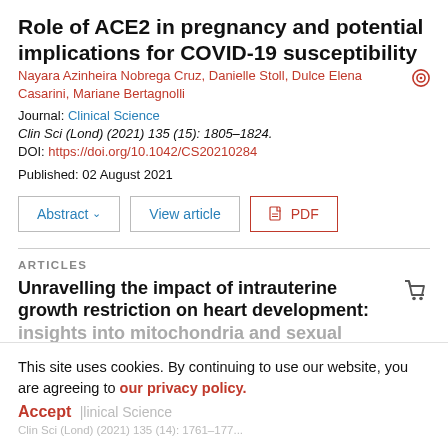Role of ACE2 in pregnancy and potential implications for COVID-19 susceptibility
Nayara Azinheira Nobrega Cruz, Danielle Stoll, Dulce Elena Casarini, Mariane Bertagnolli
Journal: Clinical Science
Clin Sci (Lond) (2021) 135 (15): 1805–1824.
DOI: https://doi.org/10.1042/CS20210284
Published: 02 August 2021
ARTICLES
Unravelling the impact of intrauterine growth restriction on heart development: insights into mitochondria and sexual dimorphism
This site uses cookies. By continuing to use our website, you are agreeing to our privacy policy.
Accept